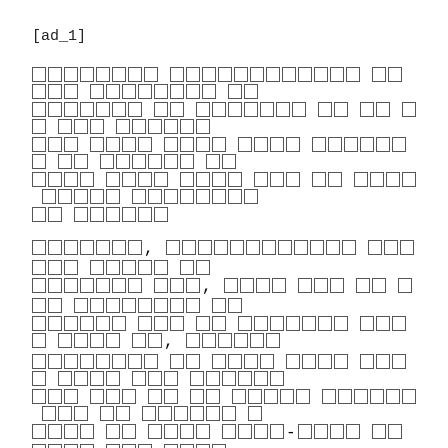[ad_1]
[redacted paragraph 1 - multiple lines of redacted/censored text shown as outlined boxes]
[redacted paragraph 2 - multiple lines of redacted/censored text shown as outlined boxes]